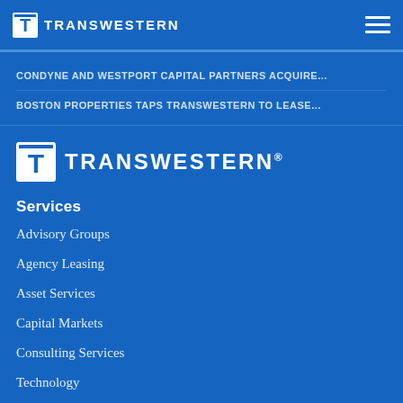TRANSWESTERN
CONDYNE AND WESTPORT CAPITAL PARTNERS ACQUIRE...
BOSTON PROPERTIES TAPS TRANSWESTERN TO LEASE...
[Figure (logo): Transwestern logo with registered trademark symbol - white T icon in square and TRANSWESTERN® wordmark on blue background]
Services
Advisory Groups
Agency Leasing
Asset Services
Capital Markets
Consulting Services
Technology